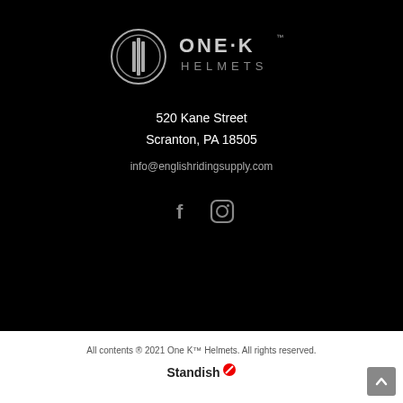[Figure (logo): ONE·K HELMETS logo in white/grey on black background, circular emblem on left with vertical bars, text ONE·K above HELMETS on right]
520 Kane Street
Scranton, PA 18505
info@englishridingsupply.com
[Figure (illustration): Facebook and Instagram social media icons in grey on black background]
All contents ® 2021 One K™ Helmets. All rights reserved.
[Figure (logo): Standish logo with red circle-slash superscript icon]